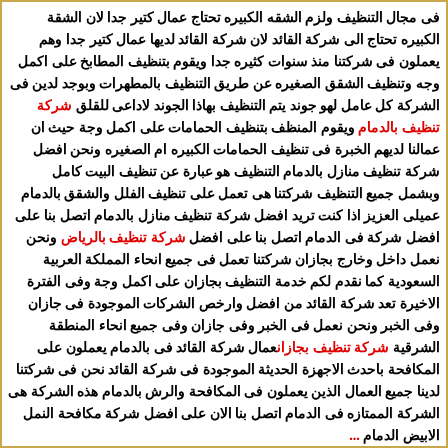فى مجال التنظيف ولزم الشقه الكبيره تحتاج عمال كتير جدا لان الشقة الكبيره تحتاج الى شركة القائد لان شركة القائد لديها عمال كتير جدا وهم يعملون فى شركتنا منذ سنوات كثيره جدا ويقوم بتنظيف المطابخ على اكمل وجه وتنظيف الشقق الصغيره عن طريق التنظيف بالمطهرات وبوجد لدين فى الشركة كل عامل كل عامل لهو جوند يتم التنظيف بهاذا الجوند لاداعى للقلق شركة تنظيف بالدمام ويقوم المنظف بتنظيف الحمامات على اكمل وجة حيث ان عمالنا لديهم الخبرة فى تنظيف الحمامات الكبيره ام الصغيره ونحن افضل شركة تنظيف منازل بالدمام التنظيف هو عبارة عن تنظيف البيت كامل وبشمل جميع التنظيف شركتنا هى تعمل على تنظيف الفلل والشقق بالدمام عميلى العزيز اذا كنت تريد افضل شركة تنظيف منازل بالدمام اتصل بنا على افضل شركة فى الدمام اتصل بنا على افضل شركة تنظيف بالرياض ونحن نعمل داخل وخارج بجازان شركتنا تعمل فى جميع انحاء المملكة العربية السعودية كما نقدم لكم خدمة التنظيف بجازان على اكمل وجة وفى الفترة الاخيرة تعد شركة القائد من افضل وارخص الشركات الموجودة فى جازان وفى الخبر ونحن نعمل فى الخبر وفى جازان وفى جميع انحاء المنطقة الشرقية شركة تنظيف بجازانعمال شركة القائد فى بالدمام يعملون على المكافحة باحدث الاجهزة الحديثة الموجودة فى شركة القائد نحن فى شركتنا لدينا جميع العمال الذين يعملون فى المكافحة والرش بالدمام هذه الشركة هى الشركة الممتازه فى الدمام اتصل بنا الان على افضل شركة مكافحة النمل الابيض الدمام